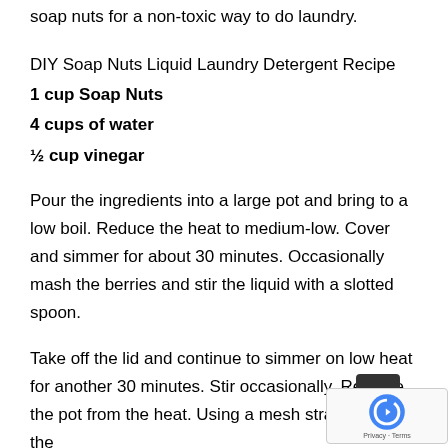soap nuts for a non-toxic way to do laundry.
DIY Soap Nuts Liquid Laundry Detergent Recipe
1 cup Soap Nuts
4 cups of water
½ cup vinegar
Pour the ingredients into a large pot and bring to a low boil. Reduce the heat to medium-low. Cover and simmer for about 30 minutes. Occasionally mash the berries and stir the liquid with a slotted spoon.
Take off the lid and continue to simmer on low heat for another 30 minutes. Stir occasionally. Remove the pot from the heat. Using a mesh strainer, strain the